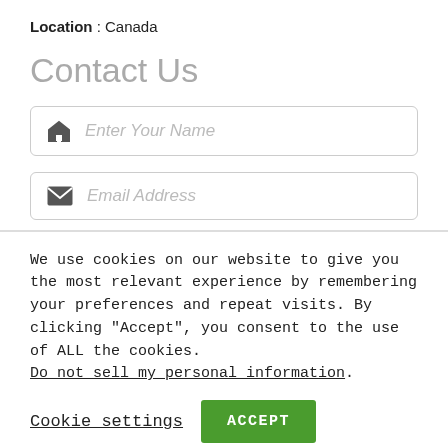Location : Canada
Contact Us
[Figure (other): Input field with home icon and placeholder text 'Enter Your Name']
[Figure (other): Input field with envelope icon and placeholder text 'Email Address']
We use cookies on our website to give you the most relevant experience by remembering your preferences and repeat visits. By clicking “Accept”, you consent to the use of ALL the cookies. Do not sell my personal information.
Cookie settings
ACCEPT